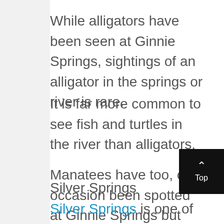While alligators have been seen at Ginnie Springs, sightings of an alligator in the springs or river is rare.
It is far more common to see fish and turtles in the river than alligators.
Manatees have too, on occasion been spotted at Ginnie Springs but sightings are rare.
Silver Springs
Silver Springs is one of the best springs to visit in Florida as it is a